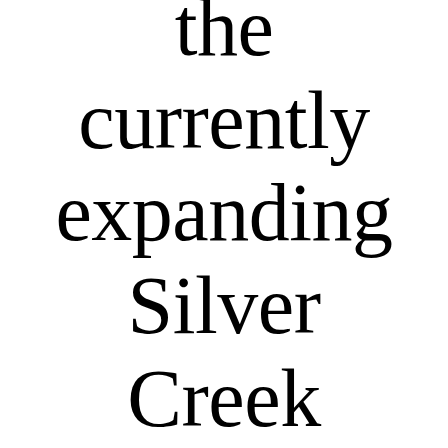the currently expanding Silver Creek